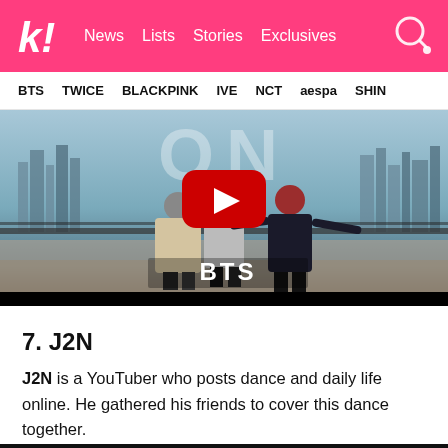k! News Lists Stories Exclusives
BTS TWICE BLACKPINK IVE NCT aespa SHIN
[Figure (screenshot): YouTube video thumbnail showing three people viewed from behind standing on a rooftop/outdoor area with a city skyline in the background. A red YouTube play button is centered on the image. Text 'ON' appears faintly at the top and 'BTS' appears at the bottom in white bold letters. A black bar is at the very bottom.]
7. J2N
J2N is a YouTuber who posts dance and daily life online. He gathered his friends to cover this dance together.